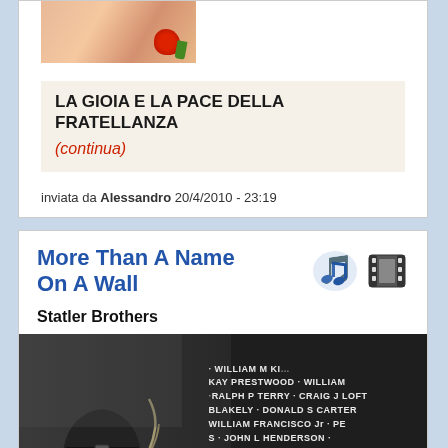[Figure (photo): Partial image of a child or person with a flower, warm tones, top of card]
LA GIOIA E LA PACE DELLA FRATELLANZA
(continua)
inviata da Alessandro 20/4/2010 - 23:19
More Than A Name On A Wall
Statler Brothers
[Figure (photo): Black and white photo of a person with a hat touching the Vietnam Veterans Memorial Wall, with engraved names visible including WILLIAM M KI..., KAY PRESTWOOD, RALPH P TERRY, CRAIG J LOFT, BLAKELY, DONALD S CARTER, WILLIAM FRANCISCO Jr, PE, S JOHN L HENDERSON, WILLIAM OFFERRED]